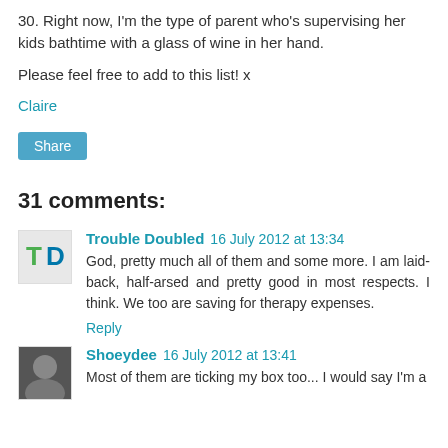30. Right now, I'm the type of parent who's supervising her kids bathtime with a glass of wine in her hand.
Please feel free to add to this list! x
Claire
Share
31 comments:
Trouble Doubled 16 July 2012 at 13:34
God, pretty much all of them and some more. I am laid-back, half-arsed and pretty good in most respects. I think. We too are saving for therapy expenses.
Reply
Shoeydee 16 July 2012 at 13:41
Most of them are ticking my box too... I would say I'm a